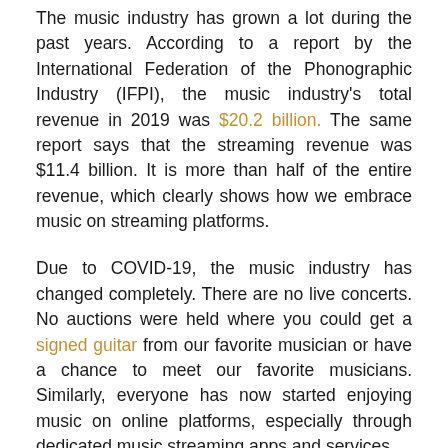The music industry has grown a lot during the past years. According to a report by the International Federation of the Phonographic Industry (IFPI), the music industry's total revenue in 2019 was $20.2 billion. The same report says that the streaming revenue was $11.4 billion. It is more than half of the entire revenue, which clearly shows how we embrace music on streaming platforms.
Due to COVID-19, the music industry has changed completely. There are no live concerts. No auctions were held where you could get a signed guitar from our favorite musician or have a chance to meet our favorite musicians. Similarly, everyone has now started enjoying music on online platforms, especially through dedicated music streaming apps and services.
Here's a look at how the current situation has led to the rise of streaming platforms, which, in turn, have reshaped the